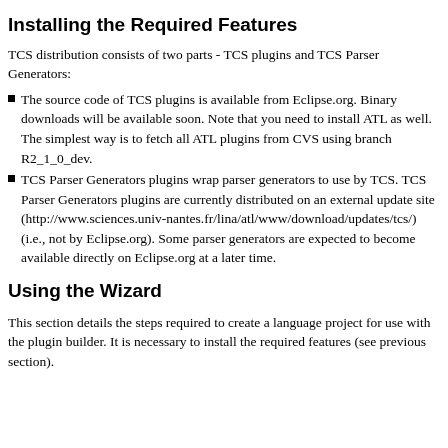Installing the Required Features
TCS distribution consists of two parts - TCS plugins and TCS Parser Generators:
The source code of TCS plugins is available from Eclipse.org. Binary downloads will be available soon. Note that you need to install ATL as well. The simplest way is to fetch all ATL plugins from CVS using branch R2_1_0_dev.
TCS Parser Generators plugins wrap parser generators to use by TCS. TCS Parser Generators plugins are currently distributed on an external update site (http://www.sciences.univ-nantes.fr/lina/atl/www/download/updates/tcs/) (i.e., not by Eclipse.org). Some parser generators are expected to become available directly on Eclipse.org at a later time.
Using the Wizard
This section details the steps required to create a language project for use with the plugin builder. It is necessary to install the required features (see previous section).